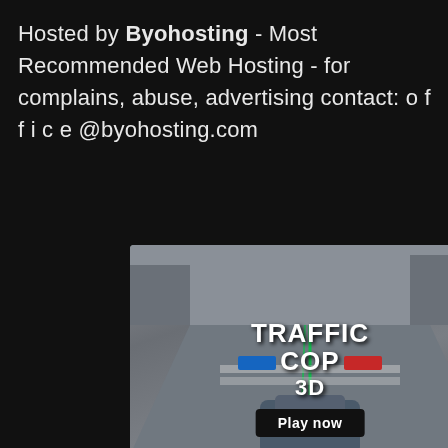Hosted by Byohosting - Most Recommended Web Hosting - for complains, abuse, advertising contact: o f f i c e @byohosting.com
[Figure (screenshot): Advertisement for Traffic Cop 3D mobile game. Left side shows game screenshot with road scene and 'Traffic Cop 3D - Play now' text. Right side shows app store listing with icon, title 'Traffic Cop 3D', price '5 free', and download button.]